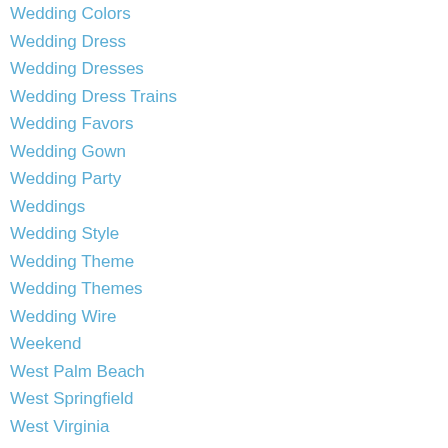Wedding Colors
Wedding Dress
Wedding Dresses
Wedding Dress Trains
Wedding Favors
Wedding Gown
Wedding Party
Weddings
Wedding Style
Wedding Theme
Wedding Themes
Wedding Wire
Weekend
West Palm Beach
West Springfield
West Virginia
Whale Watching
Whaling Museum
What To Wear
Which Budget
Whimsy